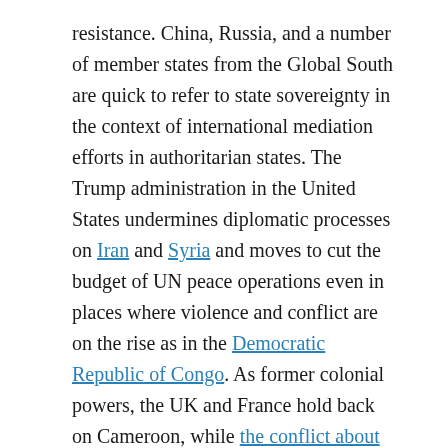resistance. China, Russia, and a number of member states from the Global South are quick to refer to state sovereignty in the context of international mediation efforts in authoritarian states. The Trump administration in the United States undermines diplomatic processes on Iran and Syria and moves to cut the budget of UN peace operations even in places where violence and conflict are on the rise as in the Democratic Republic of Congo. As former colonial powers, the UK and France hold back on Cameroon, while the conflict about the Anglophone areas is escalating.
With its ambition to promote peace and conflict prevention, Germany must not shy away from conflicts in the Security Council. At the same time, it should rely on stable partnerships and frequent exchange with its